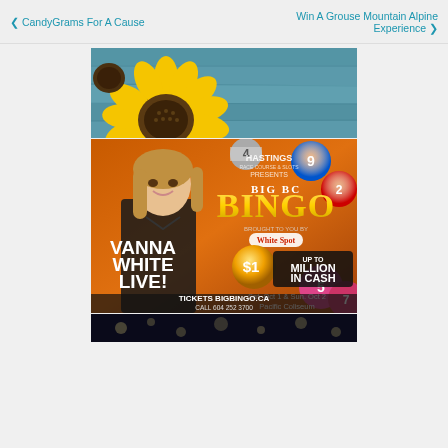❮ CandyGrams For A Cause    Win A Grouse Mountain Alpine Experience ❯
[Figure (photo): Advertisement banner with sunflowers on the left and teal/blue wooden plank background on the right]
[Figure (photo): Hastings presents Big BC Bingo advertisement featuring Vanna White Live, Up To $1 Million In Cash, Sat. Oct 1 & Sun. Oct 2, Pacific Coliseum, Tickets BIGBINGO.CA, Call 604 252 3700, Proudly Supporting Variety, Coast Mental Health, Kids Fund, WCK and other charities]
[Figure (photo): Bottom partial teaser image with dark background and bokeh lights]